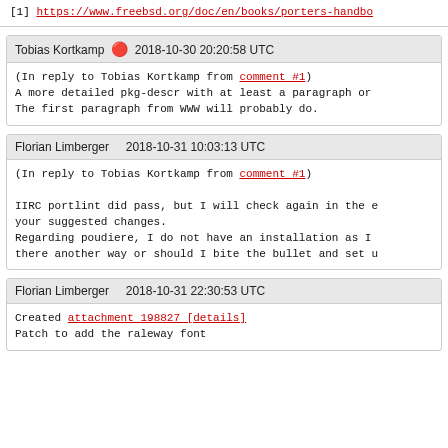[1] https://www.freebsd.org/doc/en/books/porters-handbo
Tobias Kortkamp 🔴 2018-10-30 20:20:58 UTC
(In reply to Tobias Kortkamp from comment #1)
A more detailed pkg-descr with at least a paragraph or
The first paragraph from WWW will probably do.
Florian Limberger    2018-10-31 10:03:13 UTC
(In reply to Tobias Kortkamp from comment #1)

IIRC portlint did pass, but I will check again in the e
your suggested changes.
Regarding poudiere, I do not have an installation as I
there another way or should I bite the bullet and set u
Florian Limberger    2018-10-31 22:30:53 UTC
Created attachment 198827 [details]
Patch to add the raleway font